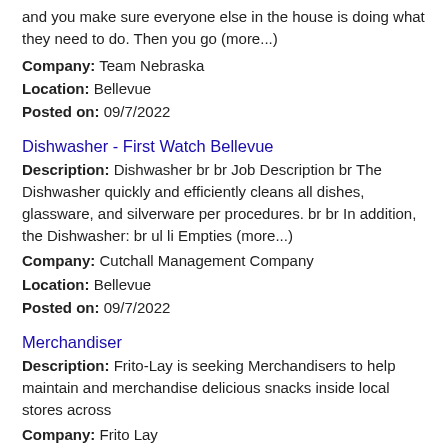and you make sure everyone else in the house is doing what they need to do. Then you go (more...)
Company: Team Nebraska
Location: Bellevue
Posted on: 09/7/2022
Dishwasher - First Watch Bellevue
Description: Dishwasher br br Job Description br The Dishwasher quickly and efficiently cleans all dishes, glassware, and silverware per procedures. br br In addition, the Dishwasher: br ul li Empties (more...)
Company: Cutchall Management Company
Location: Bellevue
Posted on: 09/7/2022
Merchandiser
Description: Frito-Lay is seeking Merchandisers to help maintain and merchandise delicious snacks inside local stores across
Company: Frito Lay
Location: Bellevue
Posted on: 09/7/2022
Territory Business Manager
Description: Heron Therapeutics develops cutting edge medicine